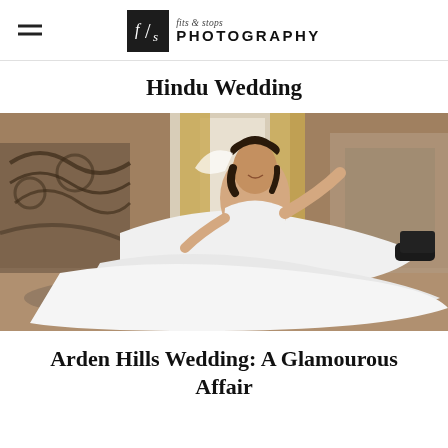fits & stops PHOTOGRAPHY
Hindu Wedding
[Figure (photo): A bride in a large white wedding dress sitting/reclining on the floor, smiling upward, with ornate wrought-iron furniture and golden curtains in the background, in an elegant room.]
Arden Hills Wedding: A Glamourous Affair